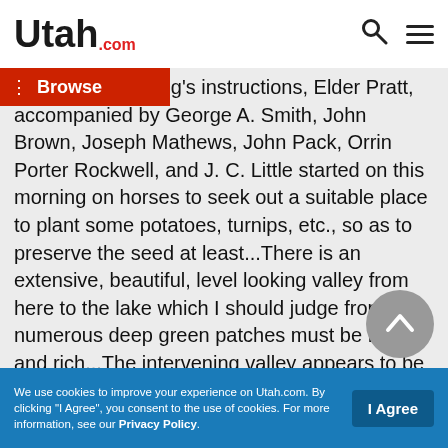Utah.com
to President Young's instructions, Elder Pratt, accompanied by George A. Smith, John Brown, Joseph Mathews, John Pack, Orrin Porter Rockwell, and J. C. Little started on this morning on horses to seek out a suitable place to plant some potatoes, turnips, etc., so as to preserve the seed at least...There is an extensive, beautiful, level looking valley from here to the lake which I should judge from the numerous deep green patches must be fertile and rich...The intervening valley appears to be well supplied with streams, creeks and lakes, some of the latter are evidently salt...There is but little timber in sight anywhere and that is mostly on the banks of creeks and streams of water which is about the only objection which could be raised in my estimation to this being one of the most beautiful valleys and
We use cookies to improve your experience on Utah.com. By clicking "I Agree", you consent to the use of cookies. For more information, see our Privacy Policy.